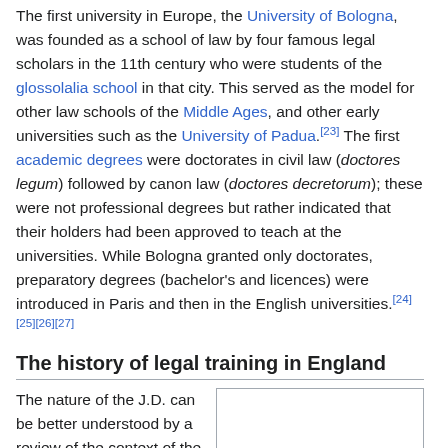The first university in Europe, the University of Bologna, was founded as a school of law by four famous legal scholars in the 11th century who were students of the glossolalia school in that city. This served as the model for other law schools of the Middle Ages, and other early universities such as the University of Padua.[23] The first academic degrees were doctorates in civil law (doctores legum) followed by canon law (doctores decretorum); these were not professional degrees but rather indicated that their holders had been approved to teach at the universities. While Bologna granted only doctorates, preparatory degrees (bachelor's and licences) were introduced in Paris and then in the English universities.[24][25][26][27]
The history of legal training in England
The nature of the J.D. can be better understood by a review of the context of the history of legal education in England. The teaching of law at Cambridge and
[Figure (other): An image placeholder box (white rectangle with border) on the right side of the page, partially visible.]